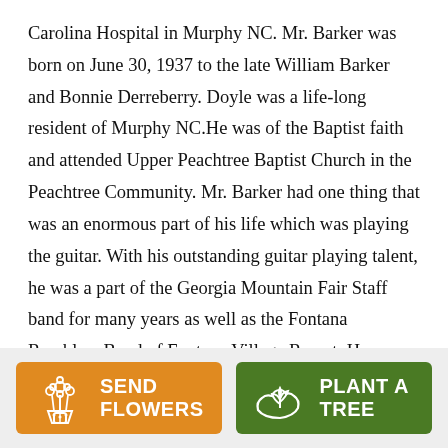Carolina Hospital in Murphy NC. Mr. Barker was born on June 30, 1937 to the late William Barker and Bonnie Derreberry. Doyle was a life-long resident of Murphy NC.He was of the Baptist faith and attended Upper Peachtree Baptist Church in the Peachtree Community. Mr. Barker had one thing that was an enormous part of his life which was playing the guitar. With his outstanding guitar playing talent, he was a part of the Georgia Mountain Fair Staff band for many years as well as the Fontana Ramblers Band of Fontana Village Resort. He was inducted into the Atlanta
[Figure (other): Orange button with flower bouquet icon and text SEND FLOWERS]
[Figure (other): Green button with plant/seedling icon and text PLANT A TREE]